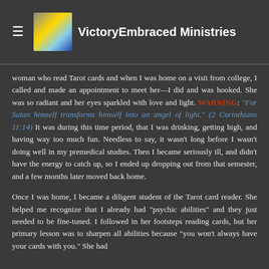VictoryEmbraced Ministries
woman who read Tarot cards and when I was home on a visit from college, I called and made an appointment to meet her—I did and was hooked. She was so radiant and her eyes sparkled with love and light. WARNING: "For Satan himself transforms himself into an angel of light." (2 Corinthians 11:14) It was during this time period, that I was drinking, getting high, and having way too much fun. Needless to say, it wasn't long before I wasn't doing well in my premedical studies. Then I became seriously ill, and didn't have the energy to catch up, so I ended up dropping out from that semester, and a few months later moved back home.
Once I was home, I became a diligent student of the Tarot card reader. She helped me recognize that I already had "psychic abilities" and they just needed to be fine-tuned. I followed in her footsteps reading cards, but her primary lesson was to sharpen all abilities because "you won't always have your cards with you." She had